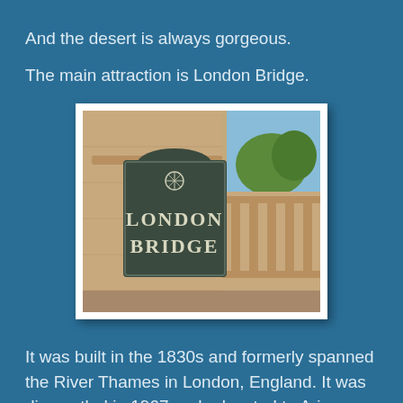And the desert is always gorgeous.
The main attraction is London Bridge.
[Figure (photo): A stone pillar or bridge abutment with a dark metal plaque reading 'LONDON BRIDGE' with a decorative emblem at the top. Balustrades and green foliage visible in background under a blue sky.]
It was built in the 1830s and formerly spanned the River Thames in London, England. It was dismantled in 1967 and relocated to Arizona. The Arizona bridge is a reinforced